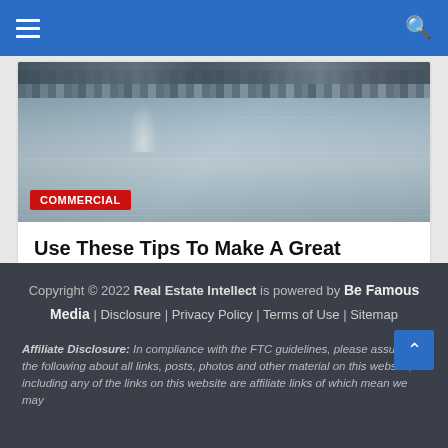Navigation bar with hamburger menu and search icon
[Figure (photo): Waterfront cityscape photo with water in foreground and buildings in background, with a water fountain visible. A red 'COMMERCIAL' badge overlays the bottom-left of the image.]
Use These Tips To Make A Great Commercial Real Estate Choice
August 28, 2022/Real Estate Intellect
Copyright © 2022 Real Estate Intellect is powered by Be Famous Media | Disclosure | Privacy Policy | Terms of Use | Sitemap

Affiliate Disclosure: In compliance with the FTC guidelines, please assume the following about all links, posts, photos and other material on this website; including any of the links on this website are affiliate links of which mean we may